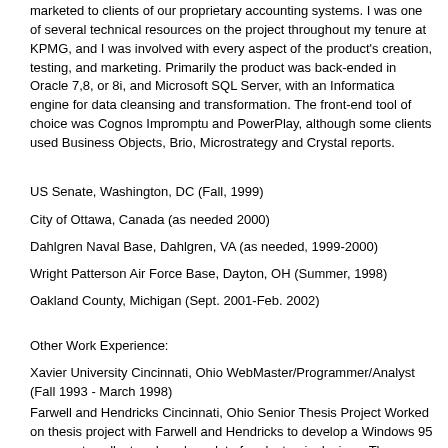marketed to clients of our proprietary accounting systems. I was one of several technical resources on the project throughout my tenure at KPMG, and I was involved with every aspect of the product's creation, testing, and marketing. Primarily the product was back-ended in Oracle 7,8, or 8i, and Microsoft SQL Server, with an Informatica engine for data cleansing and transformation. The front-end tool of choice was Cognos Impromptu and PowerPlay, although some clients used Business Objects, Brio, Microstrategy and Crystal reports.
US Senate, Washington, DC (Fall, 1999)
City of Ottawa, Canada (as needed 2000)
Dahlgren Naval Base, Dahlgren, VA (as needed, 1999-2000)
Wright Patterson Air Force Base, Dayton, OH (Summer, 1998)
Oakland County, Michigan (Sept. 2001-Feb. 2002)
Other Work Experience:
Xavier University Cincinnati, Ohio WebMaster/Programmer/Analyst (Fall 1993 - March 1998)
Farwell and Hendricks Cincinnati, Ohio Senior Thesis Project Worked on thesis project with Farwell and Hendricks to develop a Windows 95 program to collect and analyze data for electronic devices. The program collected 5,000-10,000 samples/second from hardware placed on an